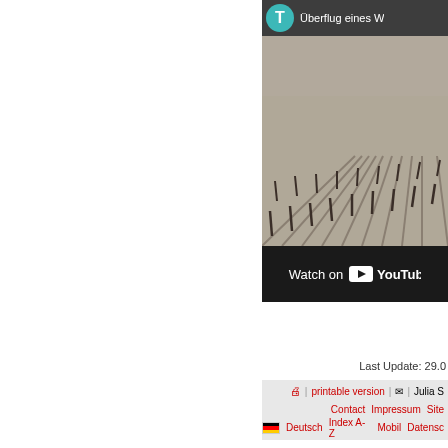[Figure (screenshot): YouTube video thumbnail showing aerial view of a vineyard in winter/early spring, with a teal circle avatar showing letter T and title starting 'Überflug eines W...']
Watch on YouTube
Last Update: 29.0
printable version | Julia S
Contact  Impressum  Site  Deutsch  Index A-Z  Mobil  Datensc